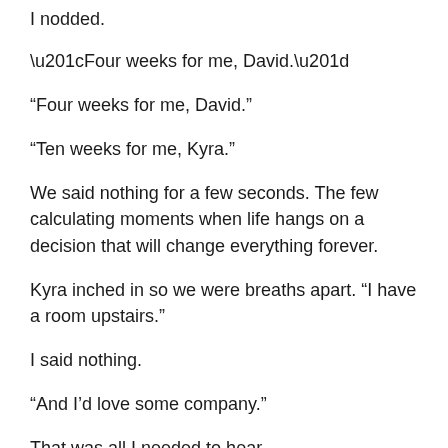I nodded.
“Four weeks for me, David.”
“Ten weeks for me, Kyra.”
We said nothing for a few seconds. The few calculating moments when life hangs on a decision that will change everything forever.
Kyra inched in so we were breaths apart. “I have a room upstairs.”
I said nothing.
“And I’d love some company.”
That was all I needed to hear.
It took ten minutes to make our way out of the ballroom,